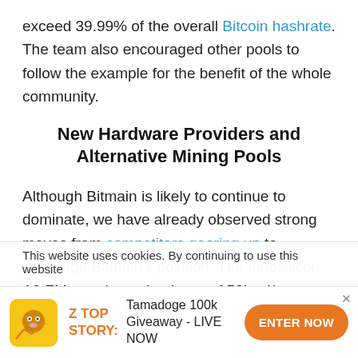exceed 39.99% of the overall Bitcoin hashrate. The team also encouraged other pools to follow the example for the benefit of the whole community.
New Hardware Providers and Alternative Mining Pools
Although Bitmain is likely to continue to dominate, we have already observed strong moves from competitors gearing up to challenge Bitmain's position. The Innosilicon A9 ZMaster has a hashrate of 50ksol/s, beating out the Bitmain Antminer Z9 at 50 ksol/s and achieving profitability of $83.10/day
This website uses cookies. By continuing to use this website
Z TOP STORY: Tamadoge 100k Giveaway - LIVE NOW ENTER NOW